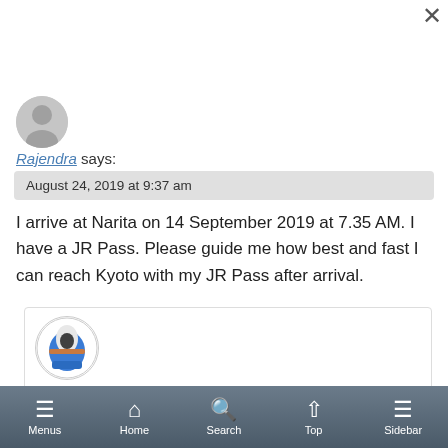[Figure (illustration): Generic user avatar - grey circle with person silhouette]
Rajendra says:
August 24, 2019 at 9:37 am
I arrive at Narita on 14 September 2019 at 7.35 AM. I have a JR Pass. Please guide me how best and fast I can reach Kyoto with my JR Pass after arrival.
[Figure (illustration): Circular avatar showing a bullet train (Shinkansen) front view with blue and white coloring]
Takeshi / JPRail.com says:
Menus  Home  Search  Top  Sidebar